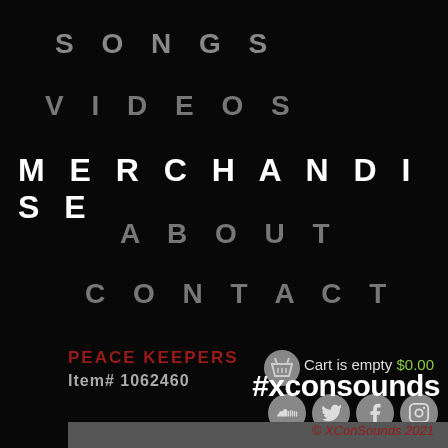SONGS
VIDEOS
MERCHANDISE
ABOUT
CONTACT
PEACE KEEPERS
Item# 1062460
Cart is empty $0.00
[Figure (screenshot): Social media icons: SoundCloud, Twitter, Facebook, Instagram]
#xconsounds
© XConSounds 2021